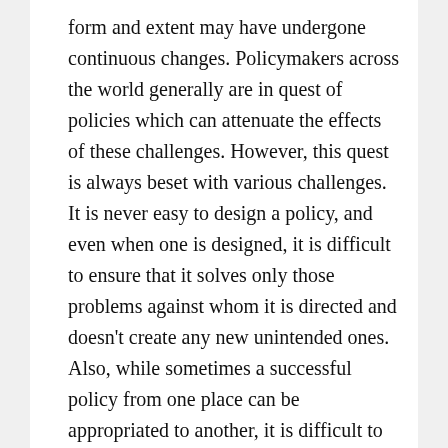form and extent may have undergone continuous changes. Policymakers across the world generally are in quest of policies which can attenuate the effects of these challenges. However, this quest is always beset with various challenges. It is never easy to design a policy, and even when one is designed, it is difficult to ensure that it solves only those problems against whom it is directed and doesn't create any new unintended ones. Also, while sometimes a successful policy from one place can be appropriated to another, it is difficult to know if that policy, devoid of the larger context in which, and for which, it was designed will solve, or reduce, the same targeted problem in an ill-fitting different scenario. This, however, doesn't